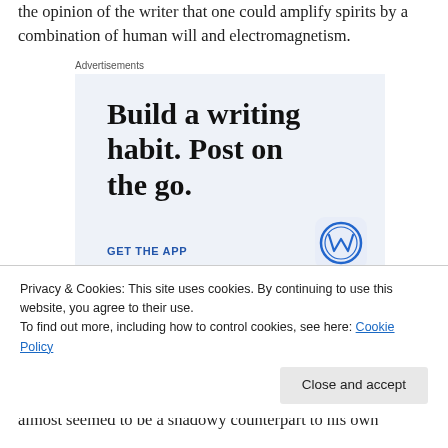the opinion of the writer that one could amplify spirits by a combination of human will and electromagnetism.
[Figure (illustration): Advertisement banner with light blue background. Large serif bold text reads 'Build a writing habit. Post on the go.' Below is blue uppercase text 'GET THE APP' and a WordPress logo circle icon in the bottom right.]
Advertisements
Privacy & Cookies: This site uses cookies. By continuing to use this website, you agree to their use.
To find out more, including how to control cookies, see here: Cookie Policy
almost seemed to be a shadowy counterpart to his own